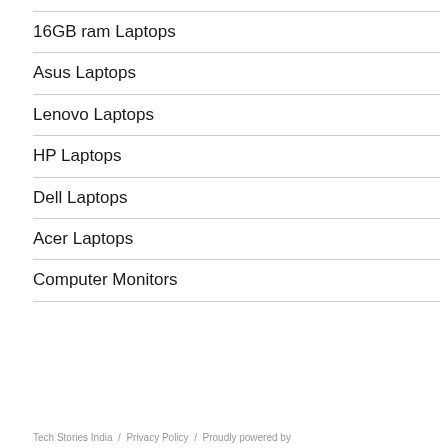16GB ram Laptops
Asus Laptops
Lenovo Laptops
HP Laptops
Dell Laptops
Acer Laptops
Computer Monitors
Tech Stories India / Privacy Policy / Proudly powered by